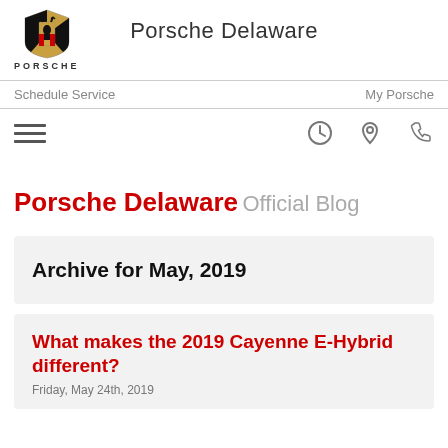[Figure (logo): Porsche crest logo with PORSCHE wordmark below]
Porsche Delaware
Schedule Service   My Porsche
[Figure (infographic): Navigation icons: hamburger menu, clock, location pin, phone]
Porsche Delaware Official Blog
Archive for May, 2019
What makes the 2019 Cayenne E-Hybrid different?
Friday, May 24th, 2019